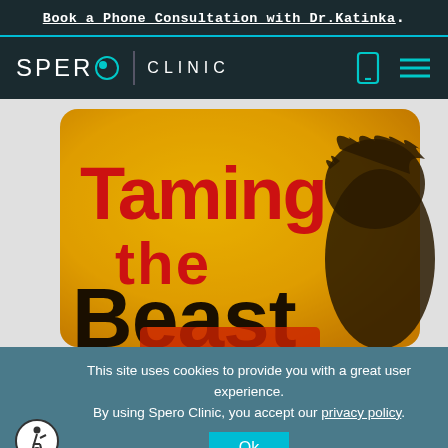Book a Phone Consultation with Dr.Katinka.
[Figure (logo): Spero Clinic logo with stylized O and phone/menu icons]
[Figure (illustration): Book cover image showing 'Taming the Beast' text on a yellow/orange grunge background with a dark silhouette of a creature]
This site uses cookies to provide you with a great user experience. By using Spero Clinic, you accept our privacy policy.